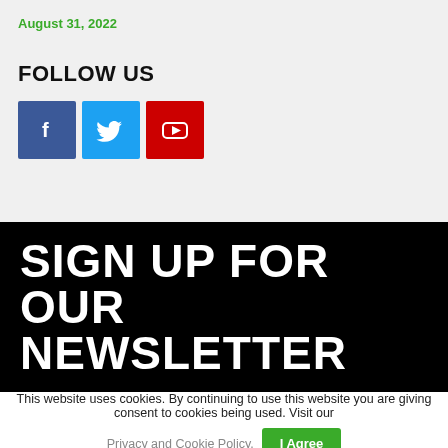August 31, 2022
FOLLOW US
[Figure (infographic): Social media icons: Facebook (blue), Twitter (light blue), YouTube (red)]
SIGN UP FOR OUR NEWSLETTER
This website uses cookies. By continuing to use this website you are giving consent to cookies being used. Visit our Privacy and Cookie Policy.
I Agree